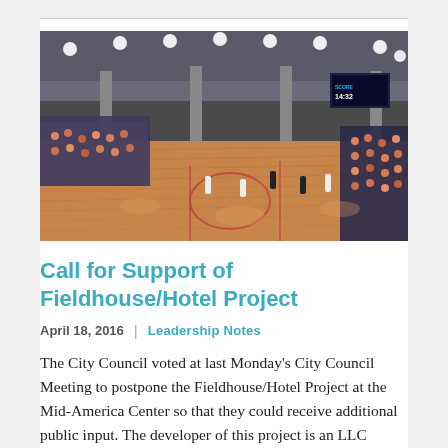[Figure (photo): Indoor sports fieldhouse with multiple basketball courts, wooden floors, spectator seating along the sides, tall ceilings with bright overhead lights, players on the court during a game or practice session.]
Call for Support of Fieldhouse/Hotel Project
April 18, 2016  |  Leadership Notes
The City Council voted at last Monday's City Council Meeting to postpone the Fieldhouse/Hotel Project at the Mid-America Center so that they could receive additional public input. The developer of this project is an LLC created by the Iowa West